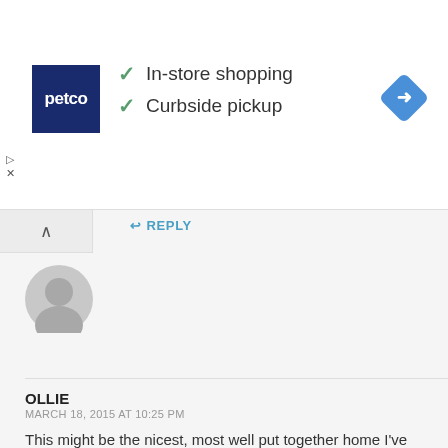[Figure (logo): Petco logo with In-store shopping and Curbside pickup checkmarks, and a blue navigation diamond icon on the right]
REPLY
[Figure (illustration): Generic gray user avatar circle icon]
OLLIE
MARCH 18, 2015 AT 10:25 PM
This might be the nicest, most well put together home I've seen on this here website. Very well done. I am quite impressed.
REPLY